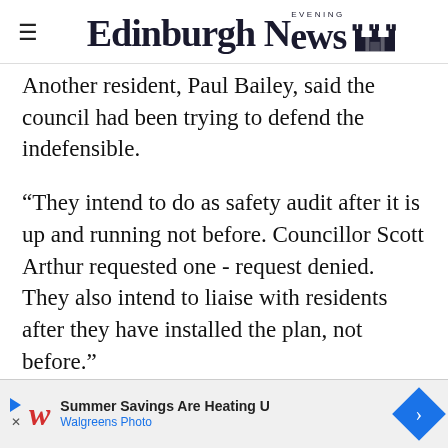Edinburgh Evening News
Another resident, Paul Bailey, said the council had been trying to defend the indefensible.
“They intend to do as safety audit after it is up and running not before. Councillor Scott Arthur requested one - request denied. They also intend to liaise with residents after they have installed the plan, not before.”
Transport and environment convener Lesley Macinnes said: “The seqregated cycleways help creat
[Figure (other): Advertisement banner for Walgreens Photo: Summer Savings Are Heating U]